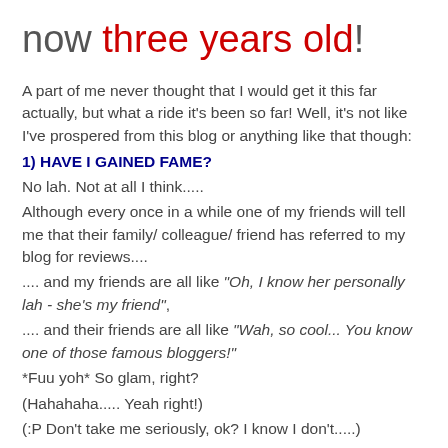now three years old!
A part of me never thought that I would get it this far actually, but what a ride it's been so far! Well, it's not like I've prospered from this blog or anything like that though:
1) HAVE I GAINED FAME?
No lah. Not at all I think.....
Although every once in a while one of my friends will tell me that their family/ colleague/ friend has referred to my blog for reviews....
.... and my friends are all like "Oh, I know her personally lah - she's my friend",
.... and their friends are all like "Wah, so cool... You know one of those famous bloggers!"
*Fuu yoh* So glam, right?
(Hahahaha..... Yeah right!)
(:P Don't take me seriously, ok? I know I don't.....)
2) HAVE I GAINED FORTUNE?
This one definately not at all. I added in Nuffnang ads to support Mr Timothy Teoh in a "Malaysia Boleh" sorta way but